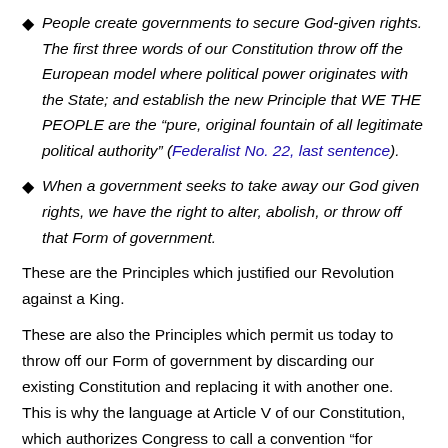People create governments to secure God-given rights. The first three words of our Constitution throw off the European model where political power originates with the State; and establish the new Principle that WE THE PEOPLE are the “pure, original fountain of all legitimate political authority” (Federalist No. 22, last sentence).
When a government seeks to take away our God given rights, we have the right to alter, abolish, or throw off that Form of government.
These are the Principles which justified our Revolution against a King.
These are also the Principles which permit us today to throw off our Form of government by discarding our existing Constitution and replacing it with another one. This is why the language at Article V of our Constitution, which authorizes Congress to call a convention “for proposing amendments”, does not restrict Delegates to merely “proposing amendments”: Delegates are invested with that inherent